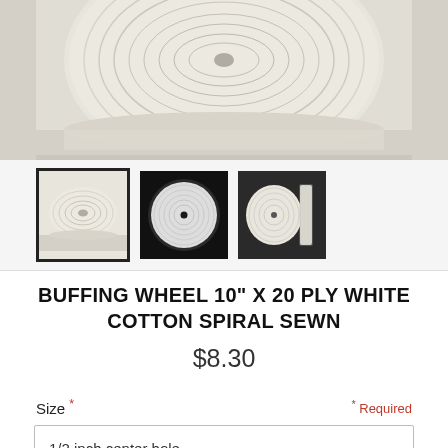[Figure (photo): Main product image showing top view of a white cotton buffing wheel, cream/off-white color, viewed from above on a light gray background. Image is cropped showing the upper portion.]
[Figure (photo): Three thumbnail images of a buffing wheel: first on light background (selected, with black border), second on black background showing front face, third on dark background showing side/edge view.]
BUFFING WHEEL 10" X 20 PLY WHITE COTTON SPIRAL SEWN
$8.30
Size * * Required
1/2 inch center hole